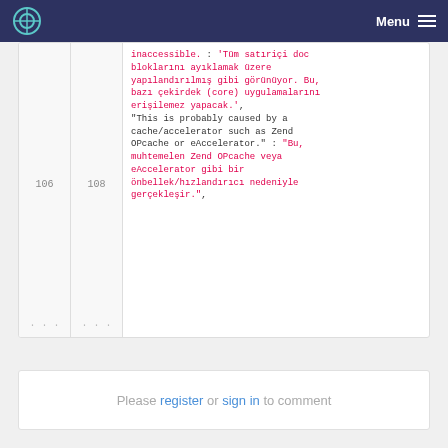Menu
inaccessible. : 'Tüm satıriçi doc bloklarını ayıklamak üzere yapılandırılmış gibi görünüyor. Bu, bazı çekirdek (core) uygulamalarını erişilemez yapacak.', "This is probably caused by a cache/accelerator such as Zend OPcache or eAccelerator." : "Bu, muhtemelen Zend OPcache veya eAccelerator gibi bir önbellek/hızlandırıcı nedeniyle gerçekleşir.",
Please register or sign in to comment